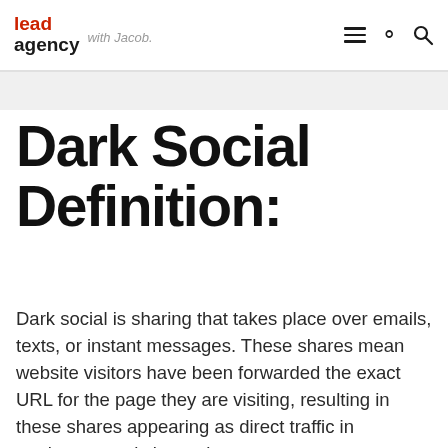lead agency — with Jacob.
Dark Social Definition:
Dark social is sharing that takes place over emails, texts, or instant messages. These shares mean website visitors have been forwarded the exact URL for the page they are visiting, resulting in these shares appearing as direct traffic in marketers analytics tools.